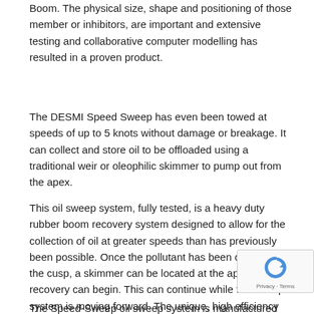Boom. The physical size, shape and positioning of these member or inhibitors, are important and extensive testing and collaborative computer modelling has resulted in a proven product.
The DESMI Speed Sweep has even been towed at speeds of up to 5 knots without damage or breakage. It can collect and store oil to be offloaded using a traditional weir or oleophilic skimmer to pump out from the apex.
This oil sweep system, fully tested, is a heavy duty rubber boom recovery system designed to allow for the collection of oil at greater speeds than has previously been possible. Once the pollutant has been collected at the cusp, a skimmer can be located at the apex and recovery can begin. This can continue while the sweep system is moving forward. The unique, high efficiency Speed-Sweep is designed to either connect to a Ro-Boom system or operate as an independent collection unit. It can be towed either between two vessels or one vessel with a jib or paravane.
The Speed-Sweep oil sweep system is manufactured from the